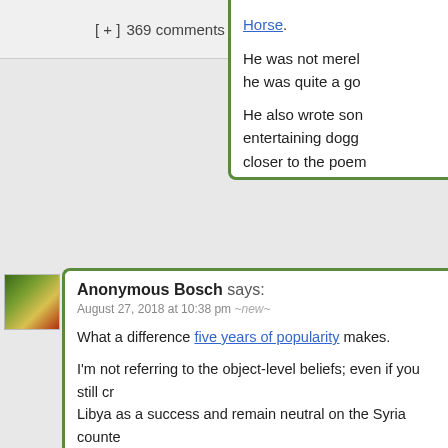[ + ]  369 comments since  1970-01-01 00:0
Horse.
He was not merel he was quite a go
He also wrote son entertaining dogg closer to the poem discussing–and b
Hide ↑
Anonymous Bosch says: August 27, 2018 at 10:38 pm ~new~
What a difference five years of popularity makes.
I'm not referring to the object-level beliefs; even if you still cr Libya as a success and remain neutral on the Syria counte